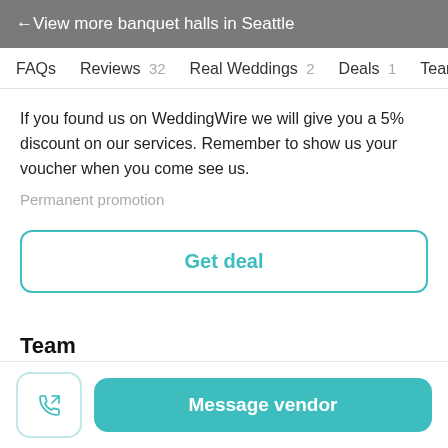← View more banquet halls in Seattle
FAQs   Reviews 32   Real Weddings 2   Deals 1   Team 1
If you found us on WeddingWire we will give you a 5% discount on our services. Remember to show us your voucher when you come see us.
Permanent promotion
Get deal
Team
Message vendor